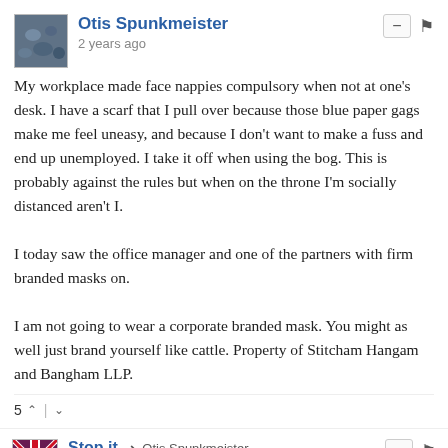Otis Spunkmeister
2 years ago
My workplace made face nappies compulsory when not at one's desk. I have a scarf that I pull over because those blue paper gags make me feel uneasy, and because I don't want to make a fuss and end up unemployed. I take it off when using the bog. This is probably against the rules but when on the throne I'm socially distanced aren't I.

I today saw the office manager and one of the partners with firm branded masks on.

I am not going to wear a corporate branded mask. You might as well just brand yourself like cattle. Property of Stitcham Hangam and Bangham LLP.
5 ^ | v
Stop it → Otis Spunkmeister
2 years ago
I tried working backwards from the numbers the government is using to find the cause of the change. Assume the person that went out and got infected in public is not a vulnerable person.